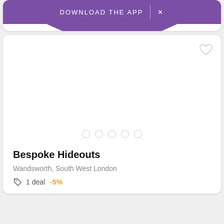[Figure (screenshot): Purple download the app banner with close button]
[Figure (photo): White image area placeholder with heart/favorite icon in top right and 5 navigation dots at bottom]
Bespoke Hideouts
Wandsworth, South West London
1 deal  -5%